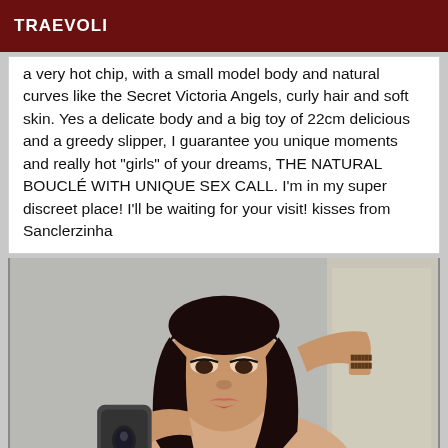TRAEVOLI
a very hot chip, with a small model body and natural curves like the Secret Victoria Angels, curly hair and soft skin. Yes a delicate body and a big toy of 22cm delicious and a greedy slipper, I guarantee you unique moments and really hot "girls" of your dreams, THE NATURAL BOUCLÉ WITH UNIQUE SEX CALL. I'm in my super discreet place! I'll be waiting for your visit! kisses from Sanclerzinha
[Figure (photo): Selfie of a person with long dark hair taking a mirror photo with a smartphone, hand raised to head, tattoo visible on wrist.]